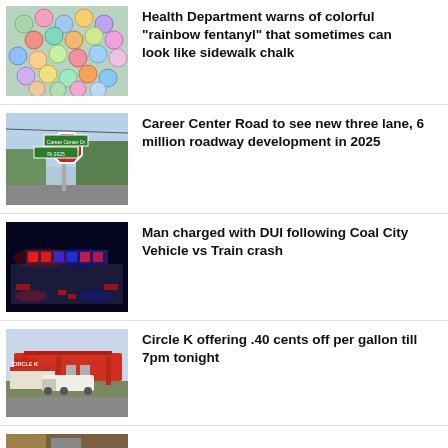[Figure (photo): Colorful round pills resembling rainbow fentanyl on a surface]
Health Department warns of colorful “rainbow fentanyl” that sometimes can look like sidewalk chalk
[Figure (photo): Street intersection with stop sign and street signs]
Career Center Road to see new three lane, 6 million roadway development in 2025
[Figure (photo): Police car with flashing lights at night]
Man charged with DUI following Coal City Vehicle vs Train crash
[Figure (photo): Circle K gas station with vehicles]
Circle K offering .40 cents off per gallon till 7pm tonight
[Figure (photo): Partial news thumbnail at bottom]